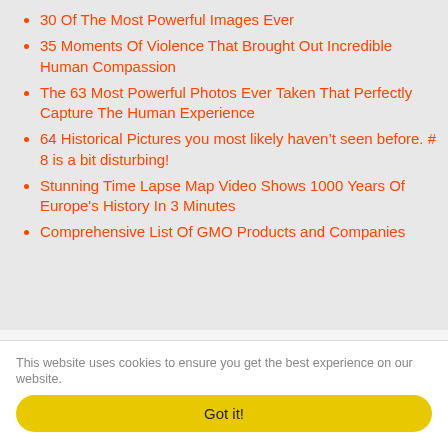30 Of The Most Powerful Images Ever
35 Moments Of Violence That Brought Out Incredible Human Compassion
The 63 Most Powerful Photos Ever Taken That Perfectly Capture The Human Experience
64 Historical Pictures you most likely haven't seen before. # 8 is a bit disturbing!
Stunning Time Lapse Map Video Shows 1000 Years Of Europe's History In 3 Minutes
Comprehensive List Of GMO Products and Companies
This website uses cookies to ensure you get the best experience on our website.
Got it!